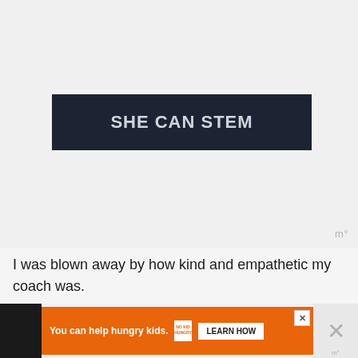[Figure (logo): SHE CAN STEM banner logo — white bold text on dark navy/charcoal background]
I was blown away by how kind and empathetic my coach was.
[Figure (infographic): Advertisement bar: orange background with 'You can help hungry kids.' text, No Kid Hungry logo, and Learn How button. X close button in upper right. Dark side panel on right with X mark and watermark.]